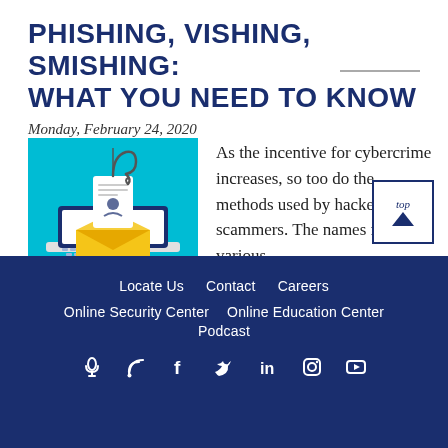PHISHING, VISHING, SMISHING: WHAT YOU NEED TO KNOW
Monday, February 24, 2020
[Figure (illustration): Illustration of a laptop with a yellow envelope, a document with a person icon being lifted by a fishing hook, on a cyan/teal background. Represents phishing/cybercrime concept.]
As the incentive for cybercrime increases, so too do the methods used by hackers and scammers. The names for their various
Locate Us   Contact   Careers   Online Security Center   Online Education Center   Podcast